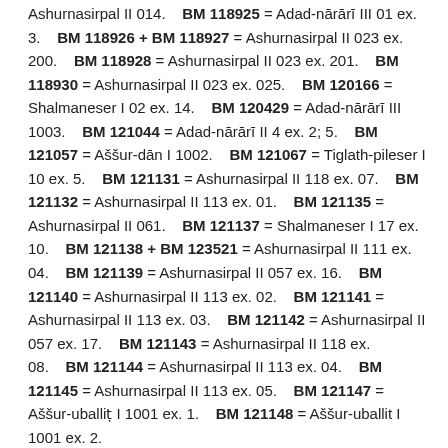Ashurnasirpal II 014.    BM 118925 = Adad-nārārī III 01 ex. 3.    BM 118926 + BM 118927 = Ashurnasirpal II 023 ex. 200.    BM 118928 = Ashurnasirpal II 023 ex. 201.    BM 118930 = Ashurnasirpal II 023 ex. 025.    BM 120166 = Shalmaneser I 02 ex. 14.    BM 120429 = Adad-nārārī III 1003.    BM 121044 = Adad-nārārī II 4 ex. 2; 5.    BM 121057 = Aššur-dān I 1002.    BM 121067 = Tiglath-pileser I 10 ex. 5.    BM 121131 = Ashurnasirpal II 118 ex. 07.    BM 121132 = Ashurnasirpal II 113 ex. 01.    BM 121135 = Ashurnasirpal II 061.    BM 121137 = Shalmaneser I 17 ex. 10.    BM 121138 + BM 123521 = Ashurnasirpal II 111 ex. 04.    BM 121139 = Ashurnasirpal II 057 ex. 16.    BM 121140 = Ashurnasirpal II 113 ex. 02.    BM 121141 = Ashurnasirpal II 113 ex. 03.    BM 121142 = Ashurnasirpal II 057 ex. 17.    BM 121143 = Ashurnasirpal II 118 ex. 08.    BM 121144 = Ashurnasirpal II 113 ex. 04.    BM 121145 = Ashurnasirpal II 113 ex. 05.    BM 121147 = Aššur-uballiṭ I 1001 ex. 1.    BM 121148 = Aššur-uballit I 1001 ex. 2.